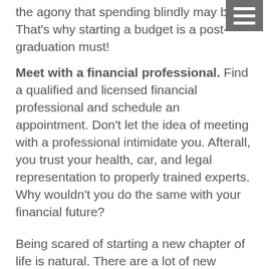the agony that spending blindly may bring. That's why starting a budget is a post-graduation must!
Meet with a financial professional. Find a qualified and licensed financial professional and schedule an appointment. Don't let the idea of meeting with a professional intimidate you. Afterall, you trust your health, car, and legal representation to properly trained experts. Why wouldn't you do the same with your financial future?
Being scared of starting a new chapter of life is natural. There are a lot of new experiences and unknowns to deal with that come along with leaving the familiarity of college. But the best way to overcome fear is to face it head on. These tips are a great way to start taking control of your future!